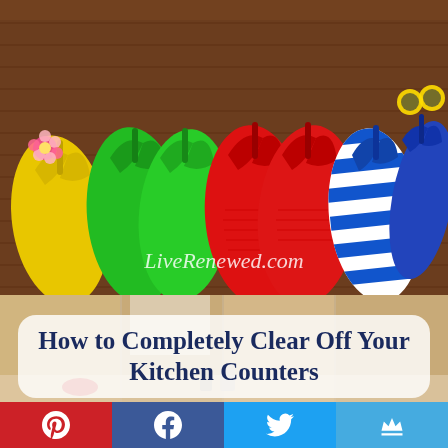[Figure (photo): Colorful flip flops (yellow with flower, two pairs of green, two pairs of red, blue and white striped, blue with yellow sunglasses) lined up on a wooden surface. LiveRenewed.com watermark in center.]
[Figure (photo): Kitchen counter and cabinets background photo with a rounded white text overlay reading 'How to Completely Clear Off Your Kitchen Counters']
How to Completely Clear Off Your Kitchen Counters
[Figure (infographic): Social sharing bar with four buttons: Pinterest (red), Facebook (dark blue), Twitter (light blue), Bloglovin (light blue)]